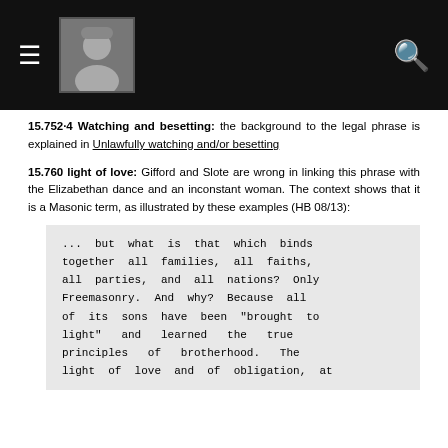≡ [portrait photo] 🔍
15.752·4 Watching and besetting: the background to the legal phrase is explained in Unlawfully watching and/or besetting
15.760 light of love: Gifford and Slote are wrong in linking this phrase with the Elizabethan dance and an inconstant woman. The context shows that it is a Masonic term, as illustrated by these examples (HB 08/13):
... but what is that which binds together all families, all faiths, all parties, and all nations? Only Freemasonry. And why? Because all of its sons have been "brought to light" and learned the true principles of brotherhood. The light of love and of obligation, at